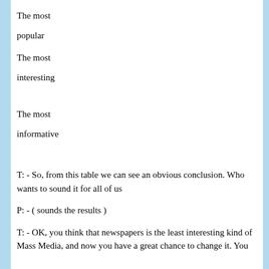The most

popular
The most

interesting
The most

informative
T: - So, from this table we can see an obvious conclusion. Who wants to sound it for all of us
P: - ( sounds the results )
T: - OK, you think that newspapers is the least interesting kind of Mass Media, and now you have a great chance to change it. You